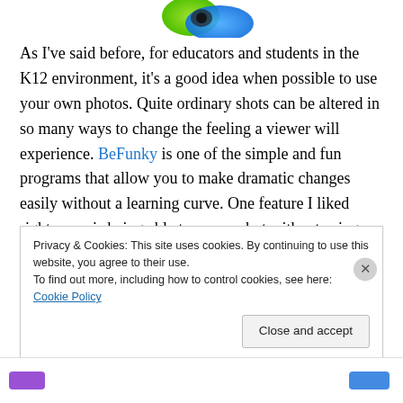[Figure (logo): App icon with green and blue colors, partially visible at top]
As I've said before, for educators and students in the K12 environment, it's a good idea when possible to use your own photos. Quite ordinary shots can be altered in so many ways to change the feeling a viewer will experience. BeFunky is one of the simple and fun programs that allow you to make dramatic changes easily without a learning curve. One feature I liked right away is being able to crop a shot without using a separate program. There are a few other editing features as well.
Privacy & Cookies: This site uses cookies. By continuing to use this website, you agree to their use.
To find out more, including how to control cookies, see here: Cookie Policy
Close and accept